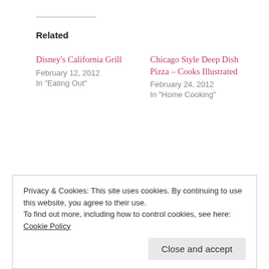Related
Disney's California Grill
February 12, 2012
In "Eating Out"
Chicago Style Deep Dish Pizza – Cooks Illustrated
February 24, 2012
In "Home Cooking"
Nostalgic American Style Pancakes
May 10, 2012
In "Home Cooking"
Eating Out, Special Occasions
Privacy & Cookies: This site uses cookies. By continuing to use this website, you agree to their use.
To find out more, including how to control cookies, see here: Cookie Policy
Close and accept